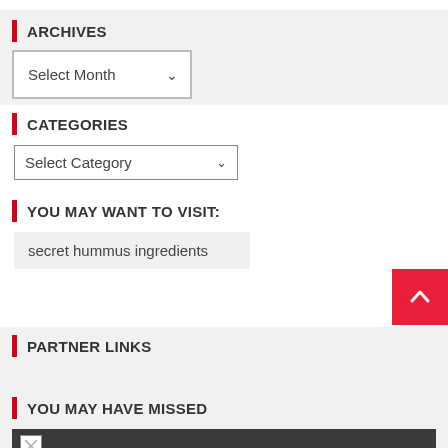ARCHIVES
[Figure (screenshot): Dropdown select box showing 'Select Month' with a down arrow]
CATEGORIES
[Figure (screenshot): Dropdown select box showing 'Select Category' with a down arrow]
YOU MAY WANT TO VISIT:
secret hummus ingredients
PARTNER LINKS
YOU MAY HAVE MISSED
[Figure (screenshot): Dark bar with broken image thumbnail at the bottom]